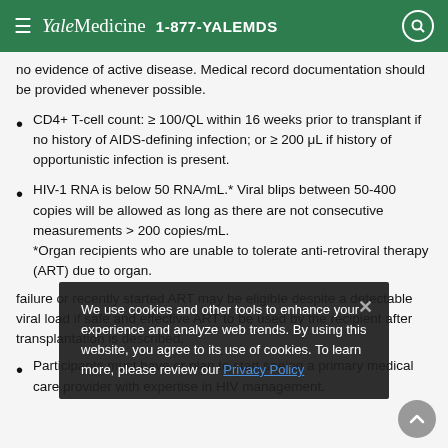Yale Medicine 1-877-YALEMDS
no evidence of active disease. Medical record documentation should be provided whenever possible.
CD4+ T-cell count: ≥ 100/QL within 16 weeks prior to transplant if no history of AIDS-defining infection; or ≥ 200 μL if history of opportunistic infection is present.
HIV-1 RNA is below 50 RNA/mL.* Viral blips between 50-400 copies will be allowed as long as there are not consecutive measurements > 200 copies/mL. *Organ recipients who are unable to tolerate anti-retroviral therapy (ART) due to organ.
failure or recently started ART may be eligible despite a detectable viral load if safe and effective ART to be used by the recipient after transplantation is described.
Participants must have or plan to start seeing a primary medical care provider with expertise in HIV management.
We use cookies and other tools to enhance your experience and analyze web trends. By using this website, you agree to its use of cookies. To learn more, please review our Privacy Policy